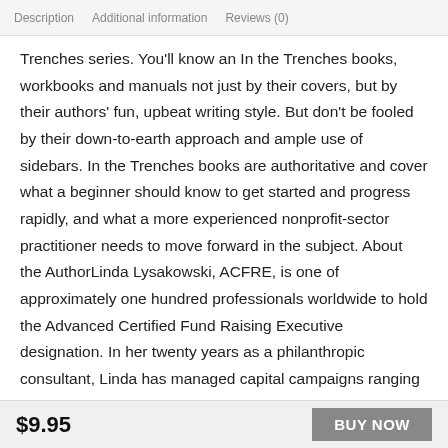Description   Additional information   Reviews (0)
Trenches series. You'll know an In the Trenches books, workbooks and manuals not just by their covers, but by their authors' fun, upbeat writing style. But don't be fooled by their down-to-earth approach and ample use of sidebars. In the Trenches books are authoritative and cover what a beginner should know to get started and progress rapidly, and what a more experienced nonprofit-sector practitioner needs to move forward in the subject. About the AuthorLinda Lysakowski, ACFRE, is one of approximately one hundred professionals worldwide to hold the Advanced Certified Fund Raising Executive designation. In her twenty years as a philanthropic consultant, Linda has managed capital campaigns ranging from $250,000 to more than $30 million,
$9.95   BUY NOW